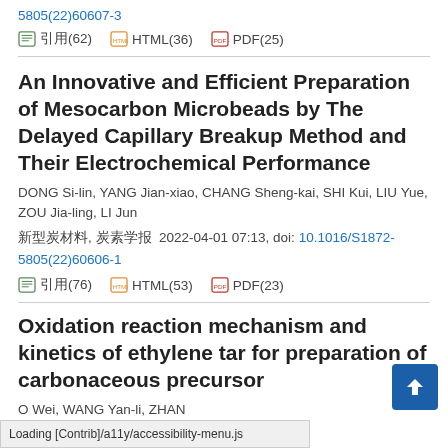5805(22)60607-3
引用(62)   HTML(36)   PDF(25)
An Innovative and Efficient Preparation of Mesocarbon Microbeads by The Delayed Capillary Breakup Method and Their Electrochemical Performance
DONG Si-lin, YANG Jian-xiao, CHANG Sheng-kai, SHI Kui, LIU Yue, ZOU Jia-ling, LI Jun
新型炭材料, 炭素学报  2022-04-01 07:13, doi: 10.1016/S1872-5805(22)60606-1
引用(76)   HTML(53)   PDF(23)
Oxidation reaction mechanism and kinetics of ethylene tar for preparation of carbonaceous precursor
O Wei, WANG Yan-li, ZHAN